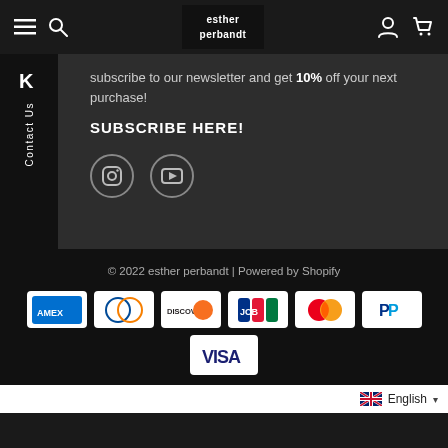esther perbandt
subscribe to our newsletter and get 10% off your next purchase!
SUBSCRIBE HERE!
[Figure (logo): Instagram and YouTube social media icons]
© 2022 esther perbandt | Powered by Shopify
[Figure (other): Payment method logos: American Express, Diners Club, Discover, JCB, Mastercard, PayPal, Visa]
English